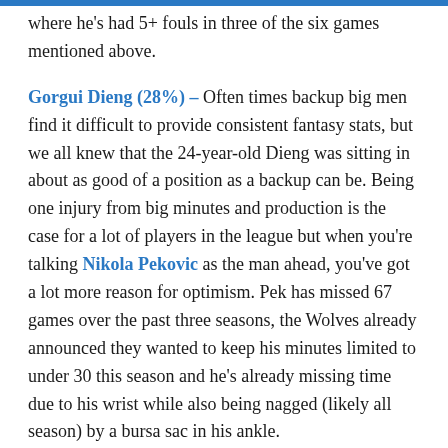…rate where he's had 5+ fouls in three of the six games mentioned above.
Gorgui Dieng (28%) – Often times backup big men find it difficult to provide consistent fantasy stats, but we all knew that the 24-year-old Dieng was sitting in about as good of a position as a backup can be. Being one injury from big minutes and production is the case for a lot of players in the league but when you're talking Nikola Pekovic as the man ahead, you've got a lot more reason for optimism. Pek has missed 67 games over the past three seasons, the Wolves already announced they wanted to keep his minutes limited to under 30 this season and he's already missing time due to his wrist while also being nagged (likely all season) by a bursa sac in his ankle.
That all adds up to even higher hopes for Dieng who is worthy of being owned in most 12-team leagues even when Pek is active because he's still delivering boards and blocks, plus he is